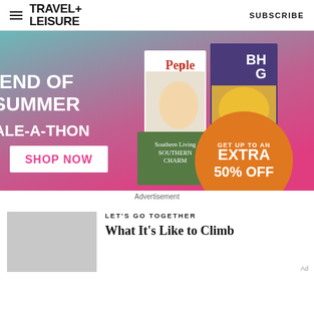TRAVEL+ LEISURE | SUBSCRIBE
[Figure (illustration): End of Summer Sale-a-Thon advertisement banner with magazine covers (People, BHG, Southern Living, allrecipes), Shop Now button, and 'Get up to an Extra 50% Off' orange circle badge on a teal-to-pink gradient background.]
Advertisement
LET'S GO TOGETHER
What It's Like to Climb